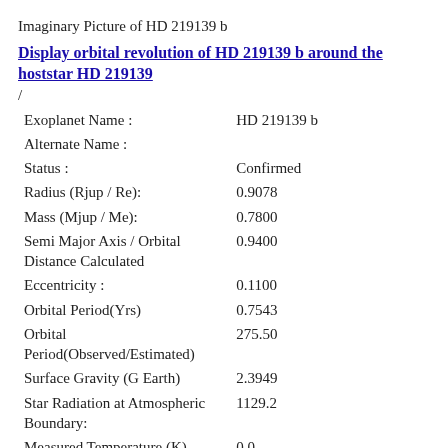Imaginary Picture of HD 219139 b
Display orbital revolution of HD 219139 b around the hoststar HD 219139
/
| Exoplanet Name : | HD 219139 b |
| Alternate Name : |  |
| Status : | Confirmed |
| Radius (Rjup / Re): | 0.9078 |
| Mass (Mjup / Me): | 0.7800 |
| Semi Major Axis / Orbital Distance Calculated | 0.9400 |
| Eccentricity : | 0.1100 |
| Orbital Period(Yrs) | 0.7543 |
| Orbital Period(Observed/Estimated) | 275.50 |
| Surface Gravity (G Earth) | 2.3949 |
| Star Radiation at Atmospheric Boundary: | 1129.2 |
| Measured Temperature (K) | 0.0 |
| Blackbody T 0.1(K) | 258.7 |